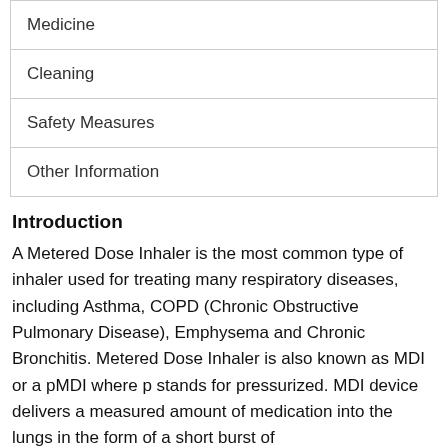| Medicine |
| Cleaning |
| Safety Measures |
| Other Information |
Introduction
A Metered Dose Inhaler is the most common type of inhaler used for treating many respiratory diseases, including Asthma, COPD (Chronic Obstructive Pulmonary Disease), Emphysema and Chronic Bronchitis. Metered Dose Inhaler is also known as MDI or a pMDI where p stands for pressurized. MDI device delivers a measured amount of medication into the lungs in the form of a short burst of